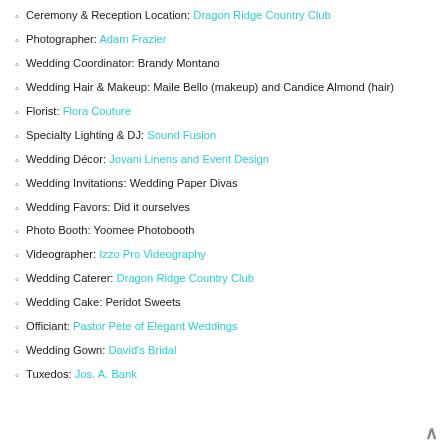Ceremony & Reception Location: Dragon Ridge Country Club
Photographer: Adam Frazier
Wedding Coordinator: Brandy Montano
Wedding Hair & Makeup: Maile Bello (makeup) and Candice Almond (hair)
Florist: Flora Couture
Specialty Lighting & DJ: Sound Fusion
Wedding Décor: Jovani Linens and Event Design
Wedding Invitations: Wedding Paper Divas
Wedding Favors: Did it ourselves
Photo Booth: Yoomee Photobooth
Videographer: Izzo Pro Videography
Wedding Caterer: Dragon Ridge Country Club
Wedding Cake: Peridot Sweets
Officiant: Pastor Pete of Elegant Weddings
Wedding Gown: David's Bridal
Tuxedos: Jos. A. Bank